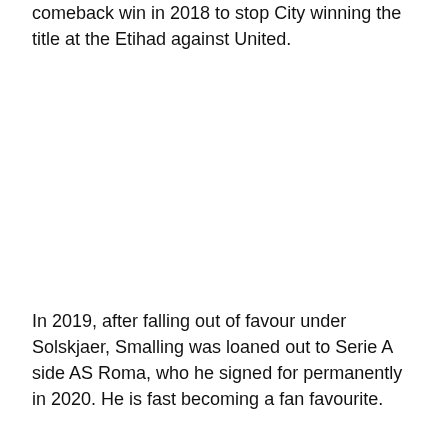comeback win in 2018 to stop City winning the title at the Etihad against United.
In 2019, after falling out of favour under Solskjaer, Smalling was loaned out to Serie A side AS Roma, who he signed for permanently in 2020. He is fast becoming a fan favourite.